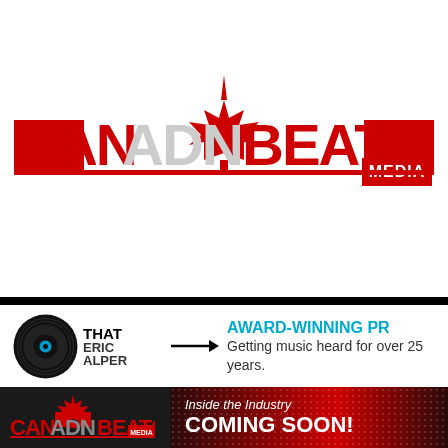[Figure (logo): Canadian Beats Media logo — red bold letters spelling CANADIANBEATS with a maple leaf integrated into the design, and MEDIA in a red box on the right]
[Figure (logo): That Eric Alper banner ad — vinyl record icon on left, THAT ERIC ALPER text, arrow pointing right, AWARD-WINNING PR headline in cyan, subtitle Getting music heard for over 25 years.]
[Figure (logo): Canadian Beats Media Inside the Industry Coming Soon! banner — small CB logo on dark left panel, red dotted right panel with Inside the Industry in italic white and COMING SOON! in large bold white]